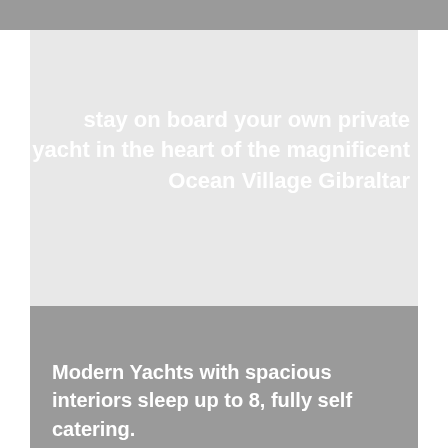stay on board your own private yacht in the heart of the magnificent Ocean Village Gibraltar
Modern Yachts with spacious interiors sleep up to 8, fully self catering.